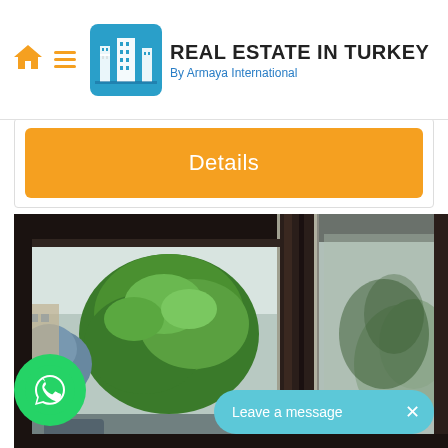[Figure (screenshot): Real Estate in Turkey website header with home icon, hamburger menu, logo showing city buildings, and site title 'REAL ESTATE IN TURKEY By Armaya International']
Details
[Figure (photo): Close-up photo of dark-framed sliding glass window/door with view of green trees and buildings outside]
[Figure (logo): WhatsApp contact button - green circular button with WhatsApp phone icon]
Leave a message